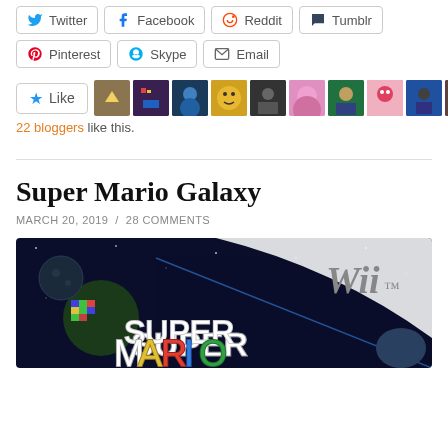Twitter Facebook Reddit Tumblr (social share buttons)
Pinterest Skype Email (social share buttons)
[Figure (other): Like button with star icon followed by a row of 10 blogger avatar thumbnails]
22 bloggers like this.
Super Mario Galaxy
MARCH 20, 2019 / 28 COMMENTS
[Figure (photo): Super Mario Galaxy Wii game box art showing colorful logo and space background]